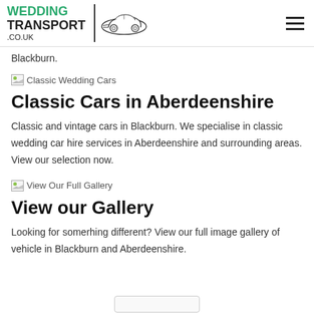WEDDING TRANSPORT .CO.UK
Blackburn.
[Figure (illustration): Broken image placeholder labeled Classic Wedding Cars]
Classic Cars in Aberdeenshire
Classic and vintage cars in Blackburn. We specialise in classic wedding car hire services in Aberdeenshire and surrounding areas. View our selection now.
[Figure (illustration): Broken image placeholder labeled View Our Full Gallery]
View our Gallery
Looking for somerhing different? View our full image gallery of vehicle in Blackburn and Aberdeenshire.